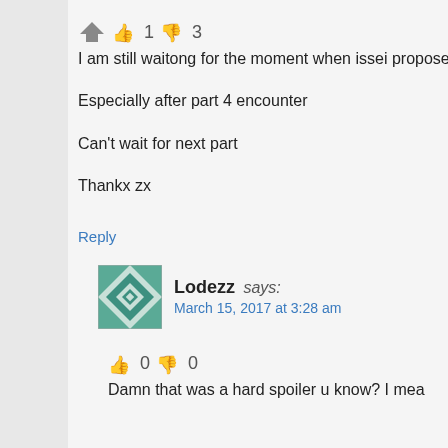👍 1 👎 3
I am still waitong for the moment when issei propose ake
Especially after part 4 encounter
Can't wait for next part
Thankx zx
Reply
Lodezz says:
March 15, 2017 at 3:28 am
👍 0 👎 0
Damn that was a hard spoiler u know? I mea